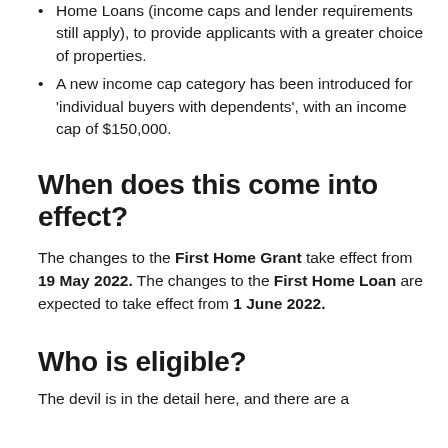Home Loans (income caps and lender requirements still apply), to provide applicants with a greater choice of properties.
A new income cap category has been introduced for 'individual buyers with dependents', with an income cap of $150,000.
When does this come into effect?
The changes to the First Home Grant take effect from 19 May 2022. The changes to the First Home Loan are expected to take effect from 1 June 2022.
Who is eligible?
The devil is in the detail here, and there are a